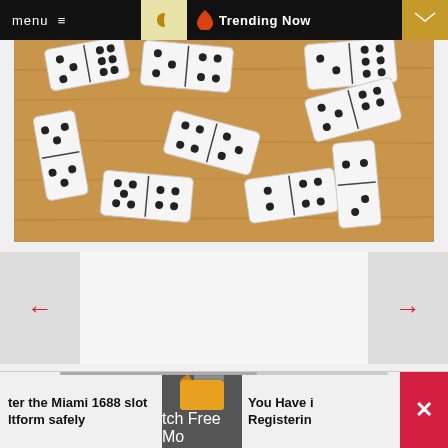menu  ≡   🌙   🔥 Trending Now   ✉
[Figure (photo): White domino tiles scattered on a wooden surface, viewed from above]
← (left navigation arrow)
→ (right navigation arrow)
RELATED POST
[Figure (infographic): Circular progress indicator showing 62%]
[Figure (screenshot): Movie clapperboard icon for Watch Free Movies]
ter the Miami 1688 slot
ltform safely
You Have i
Registerin